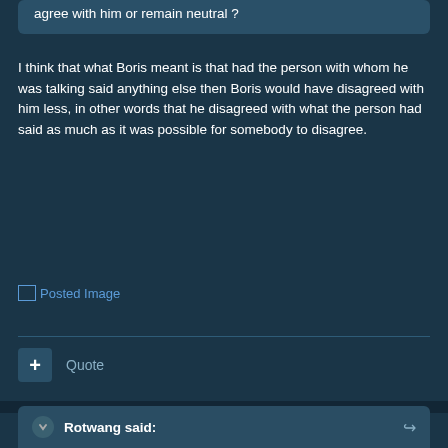agree with him or remain neutral ?
I think that what Boris meant is that had the person with whom he was talking said anything else then Boris would have disagreed with him less, in other words that he disagreed with what the person had said as much as it was possible for somebody to disagree.
[Figure (other): Posted Image link with broken image icon]
Quote
abasio
Posted August 22, 2007
Rotwang said: